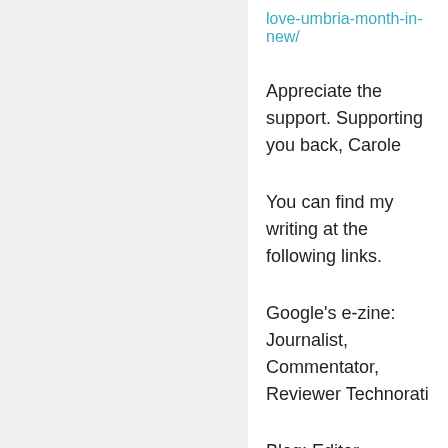love-umbria-month-in-new/
Appreciate the support. Supporting you back, Carole
You can find my writing at the following links.
Google's e-zine: Journalist, Commentator, Reviewer Technorati
Blog: Editor, Manager, Writer/Creator The Fat and the Skinny A Christian Apologist's
Privacy & Cookies: This site uses cookies. By continuing to use this website, you agree to their use.
To find out more, including how to control cookies, see here: Cookie Policy
Close and accept